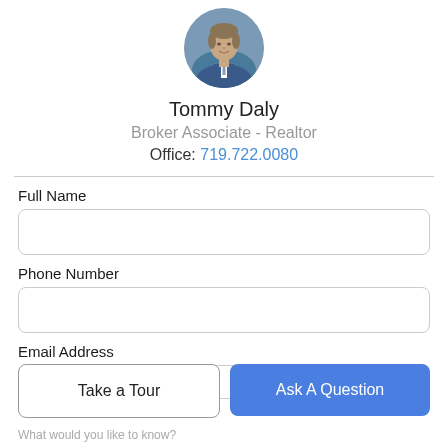[Figure (photo): Circular headshot photo of Tommy Daly, a man in a suit, smiling, with outdoor background]
Tommy Daly
Broker Associate - Realtor
Office: 719.722.0080
Full Name
Phone Number
Email Address
Take a Tour
Ask A Question
What would you like to know?